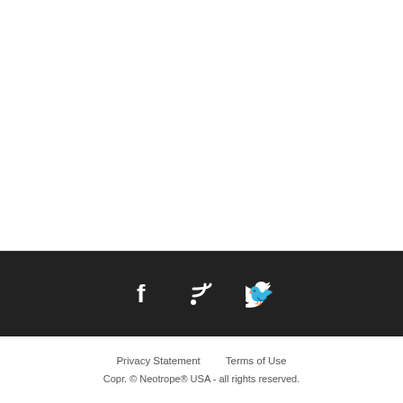[Figure (other): Social media icons row: Facebook (f), RSS feed, Twitter bird icons in white on dark background]
Privacy Statement    Terms of Use
Copr. © Neotrope® USA - all rights reserved.